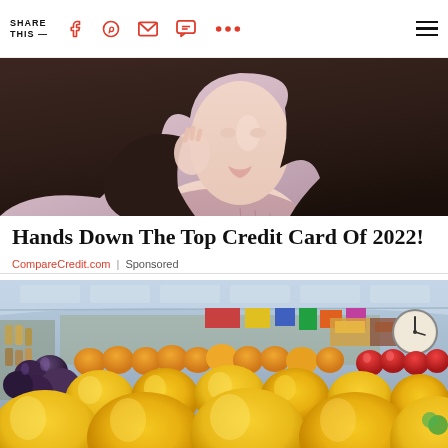SHARE THIS —
[Figure (photo): Woman with dark hair wearing a pink/mauve knit sweater, posed with hand near face against a light background]
Hands Down The Top Credit Card Of 2022!
CompareCredit.com | Sponsored
[Figure (photo): Wide-angle fisheye view of an indoor fruit and vegetable market with large yellow mangoes/peaches in foreground, colorful produce and clock visible]